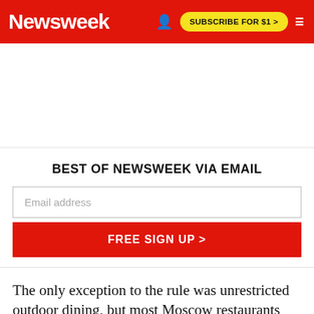Newsweek | SUBSCRIBE FOR $1 >
[Figure (other): Advertisement area (blank white space)]
BEST OF NEWSWEEK VIA EMAIL
Email address
FREE SIGN UP >
The only exception to the rule was unrestricted outdoor dining, but most Moscow restaurants